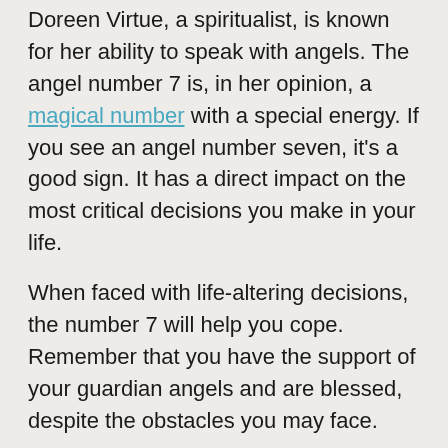Doreen Virtue, a spiritualist, is known for her ability to speak with angels. The angel number 7 is, in her opinion, a magical number with a special energy. If you see an angel number seven, it's a good sign. It has a direct impact on the most critical decisions you make in your life.
When faced with life-altering decisions, the number 7 will help you cope. Remember that you have the support of your guardian angels and are blessed, despite the obstacles you may face.
Conclusion I hope you now have a better idea of the meaning of the angel number 7. We attempted to cover all of the spiritual layers of this particular number with extensive